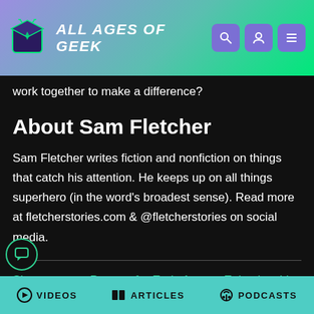ALL AGES OF GEEK
work together to make a difference?
About Sam Fletcher
Sam Fletcher writes fiction and nonfiction on things that catch his attention. He keeps up on all things superhero (in the word's broadest sense). Read more at fletcherstories.com & @fletcherstories on social media.
Sign up to our Patreon for Early Access Episodes, Live nts and Weekly Rewards! And leave a comment down
VIDEOS   ARTICLES   PODCASTS